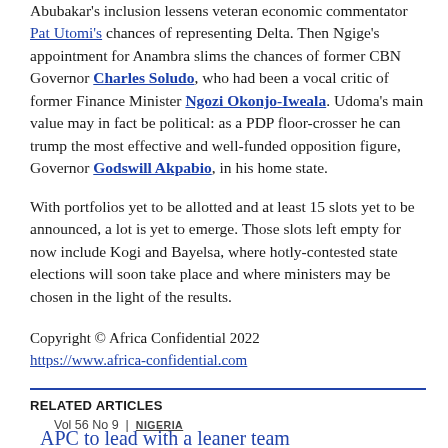Abubakar's inclusion lessens veteran economic commentator Pat Utomi's chances of representing Delta. Then Ngige's appointment for Anambra slims the chances of former CBN Governor Charles Soludo, who had been a vocal critic of former Finance Minister Ngozi Okonjo-Iweala. Udoma's main value may in fact be political: as a PDP floor-crosser he can trump the most effective and well-funded opposition figure, Governor Godswill Akpabio, in his home state.
With portfolios yet to be allotted and at least 15 slots yet to be announced, a lot is yet to emerge. Those slots left empty for now include Kogi and Bayelsa, where hotly-contested state elections will soon take place and where ministers may be chosen in the light of the results.
Copyright © Africa Confidential 2022
https://www.africa-confidential.com
RELATED ARTICLES
Vol 56 No 9 | NIGERIA
APC to lead with a leaner team